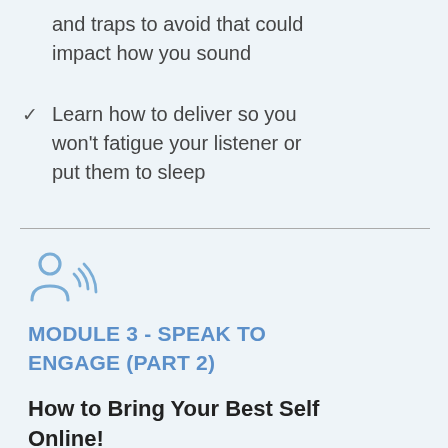and traps to avoid that could impact how you sound
Learn how to deliver so you won't fatigue your listener or put them to sleep
[Figure (illustration): Blue icon of a person speaking with sound waves emanating from them]
MODULE 3 - SPEAK TO ENGAGE (PART 2)
How to Bring Your Best Self Online!